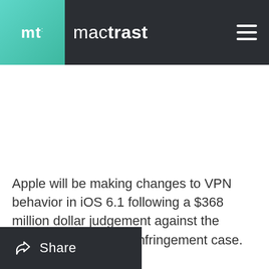mt mactrast
Apple will be making changes to VPN behavior in iOS 6.1 following a $368 million dollar judgement against the company in a patent infringement case.
[Figure (photo): Broken image placeholder labeled virnetX_homepage]
Share